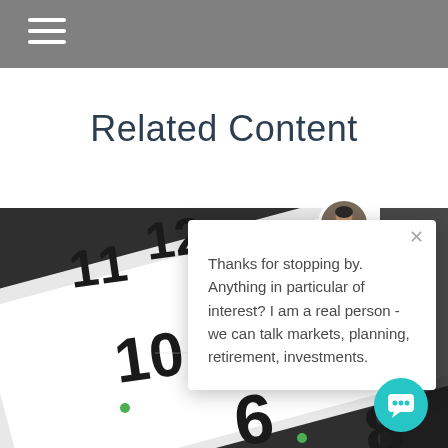Related Content
[Figure (photo): Background photo of a clock face on a tablet/iPad device on a dark surface, showing numbers 6, 8, 10, 11, 12 visible]
[Figure (screenshot): Chat popup widget with avatar photo of a man, close X button, and message: Thanks for stopping by. Anything in particular of interest? I am a real person - we can talk markets, planning, retirement, investments.]
Thanks for stopping by. Anything in particular of interest? I am a real person - we can talk markets, planning, retirement, investments.